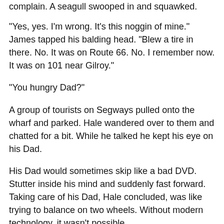complain. A seagull swooped in and squawked.
"Yes, yes. I'm wrong. It's this noggin of mine." James tapped his balding head. "Blew a tire in there. No. It was on Route 66. No. I remember now. It was on 101 near Gilroy."
"You hungry Dad?"
A group of tourists on Segways pulled onto the wharf and parked. Hale wandered over to them and chatted for a bit. While he talked he kept his eye on his Dad.
His Dad would sometimes skip like a bad DVD. Stutter inside his mind and suddenly fast forward. Taking care of his Dad, Hale concluded, was like trying to balance on two wheels. Without modern technology, it wasn't possible.
Hale walked back to his Dad and took his arm.
"Dad?"
"Yes, yes. Food sounds good. I ate a horse once. No. The enlisted men ate the horse. No. It wasn't a horse. I remember now, it was a deer. On a hunting